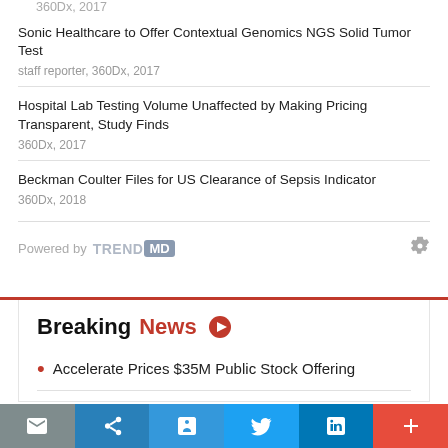360Dx, 2017
Sonic Healthcare to Offer Contextual Genomics NGS Solid Tumor Test
staff reporter, 360Dx, 2017
Hospital Lab Testing Volume Unaffected by Making Pricing Transparent, Study Finds
360Dx, 2017
Beckman Coulter Files for US Clearance of Sepsis Indicator
360Dx, 2018
Powered by TREND MD
Breaking News
Accelerate Prices $35M Public Stock Offering
Email | Share | Print | Twitter | LinkedIn | More